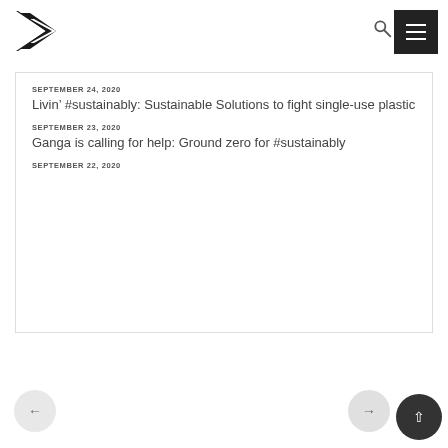SEPTEMBER 24, 2020
Livin’ #sustainably: Sustainable Solutions to fight single-use plastic
SEPTEMBER 23, 2020
Ganga is calling for help: Ground zero for #sustainably
SEPTEMBER 22, 2020